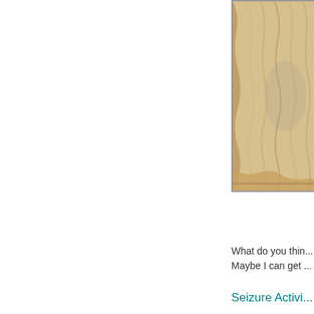[Figure (photo): Close-up photograph of what appears to be animal fur or skin texture, cropped at the right edge of the page. The image has a yellowish-cream background with brownish-gray fur or hide texture visible. A dark outline/border is visible at the bottom of the image.]
What do you thin... Maybe I can get ...
Seizure Activi...